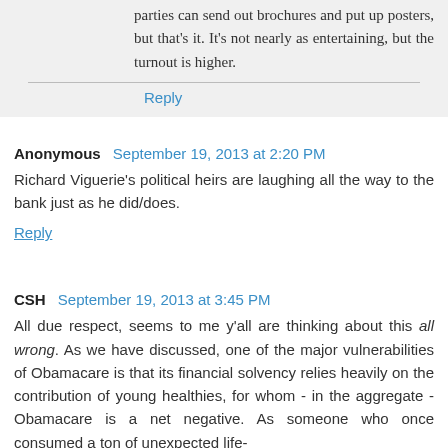parties can send out brochures and put up posters, but that's it. It's not nearly as entertaining, but the turnout is higher.
Reply
Anonymous  September 19, 2013 at 2:20 PM
Richard Viguerie's political heirs are laughing all the way to the bank just as he did/does.
Reply
CSH  September 19, 2013 at 3:45 PM
All due respect, seems to me y'all are thinking about this all wrong. As we have discussed, one of the major vulnerabilities of Obamacare is that its financial solvency relies heavily on the contribution of young healthies, for whom - in the aggregate - Obamacare is a net negative. As someone who once consumed a ton of unexpected life-